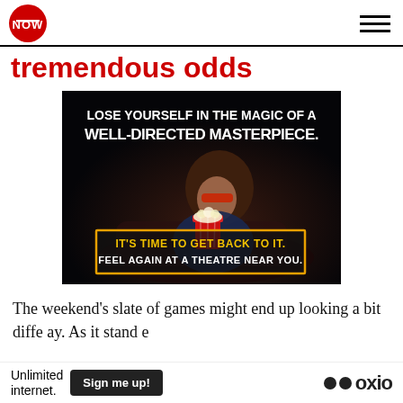NOW
tremendous odds
[Figure (photo): Movie theatre advertisement showing a woman with 3D glasses holding a red popcorn bucket in a dark cinema. Text reads: 'LOSE YOURSELF IN THE MAGIC OF A WELL-DIRECTED MASTERPIECE.' and in a yellow-bordered box: 'IT'S TIME TO GET BACK TO IT. FEEL AGAIN AT A THEATRE NEAR YOU.']
The weekend's slate of games might end up looking a bit diffe... ay. As it stand... e
[Figure (infographic): Bottom advertisement bar: 'Unlimited internet.' with 'Sign me up!' button and Oxio logo]